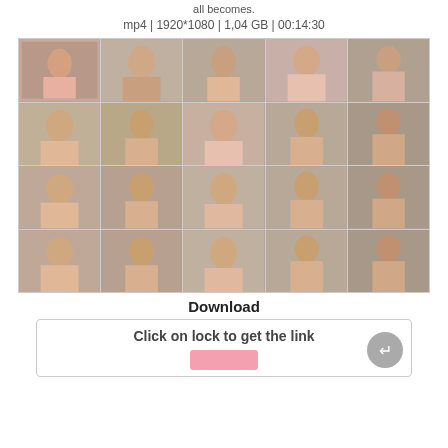all becomes.
mp4 | 1920*1080 | 1,04 GB | 00:14:30
[Figure (photo): 4x5 grid of video thumbnail screenshots showing a young woman in pink lingerie in various poses in a living room setting]
Download
Click on lock to get the link